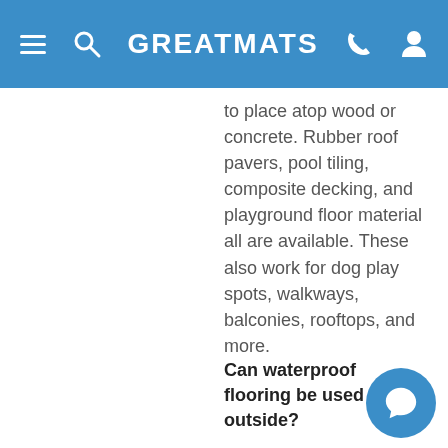GREATMATS
to place atop wood or concrete. Rubber roof pavers, pool tiling, composite decking, and playground floor material all are available. These also work for dog play spots, walkways, balconies, rooftops, and more.
Can waterproof flooring be used outside?
Yes. Some types will